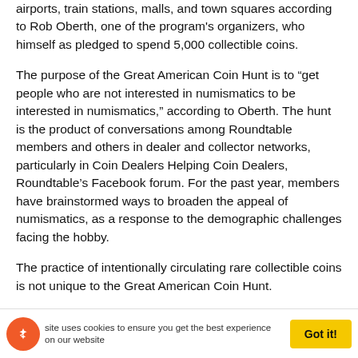airports, train stations, malls, and town squares according to Rob Oberth, one of the program's organizers, who himself as pledged to spend 5,000 collectible coins.
The purpose of the Great American Coin Hunt is to “get people who are not interested in numismatics to be interested in numismatics,” according to Oberth. The hunt is the product of conversations among Roundtable members and others in dealer and collector networks, particularly in Coin Dealers Helping Coin Dealers, Roundtable’s Facebook forum. For the past year, members have brainstormed ways to broaden the appeal of numismatics, as a response to the demographic challenges facing the hobby.
The practice of intentionally circulating rare collectible coins is not unique to the Great American Coin Hunt.
This site uses cookies to ensure you get the best experience on our website   Got it!